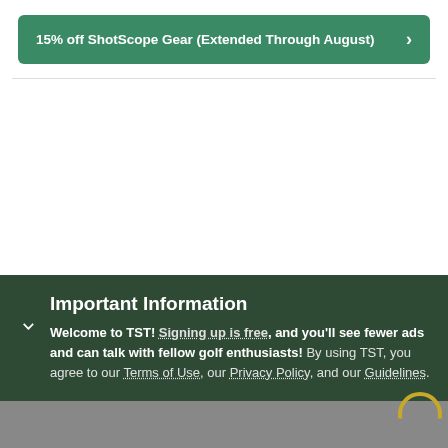15% off ShotScope Gear (Extended Through August) >
Important Information
Welcome to TST! Signing up is free, and you'll see fewer ads and can talk with fellow golf enthusiasts! By using TST, you agree to our Terms of Use, our Privacy Policy, and our Guidelines.